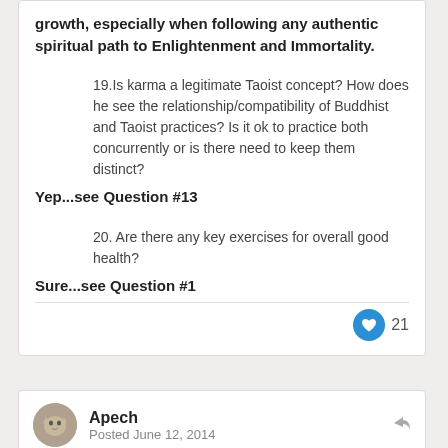growth, especially when following any authentic spiritual path to Enlightenment and Immortality.
19.Is karma a legitimate Taoist concept? How does he see the relationship/compatibility of Buddhist and Taoist practices? Is it ok to practice both concurrently or is there need to keep them distinct?
Yep...see Question #13
20. Are there any key exercises for overall good health?
Sure...see Question #1
21
Apech
Posted June 12, 2014